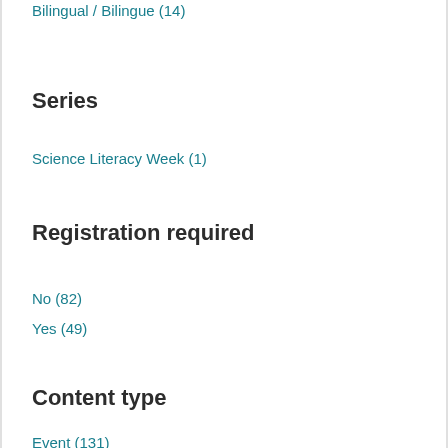Bilingual / Bilingue (14)
Series
Science Literacy Week (1)
Registration required
No (82)
Yes (49)
Content type
Event (131)